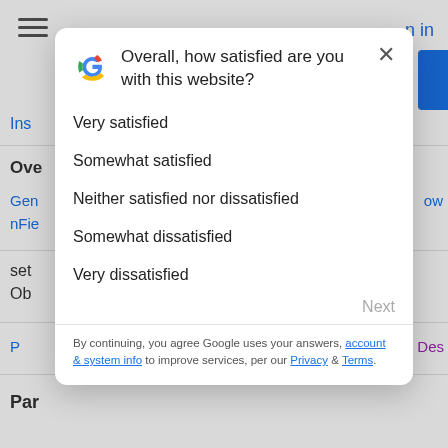[Figure (screenshot): Google website satisfaction survey modal dialog overlaid on a webpage. The modal has a Google 'G' logo, close button (×), a question 'Overall, how satisfied are you with this website?', five radio options (Very satisfied, Somewhat satisfied, Neither satisfied nor dissatisfied, Somewhat dissatisfied, Very dissatisfied), a greyed-out 'Next' button, a divider, and a legal disclaimer about Google using answers with links to account & system info, Privacy, and Terms.]